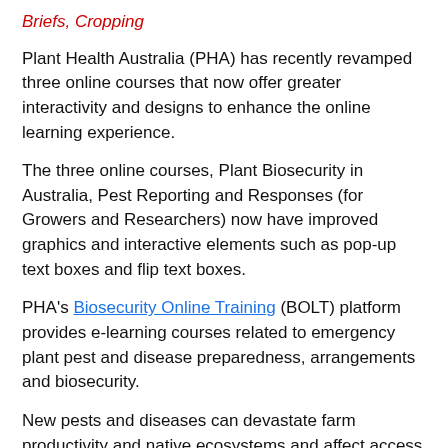Briefs, Cropping
Plant Health Australia (PHA) has recently revamped three online courses that now offer greater interactivity and designs to enhance the online learning experience.
The three online courses, Plant Biosecurity in Australia, Pest Reporting and Responses (for Growers and Researchers) now have improved graphics and interactive elements such as pop-up text boxes and flip text boxes.
PHA's Biosecurity Online Training (BOLT) platform provides e-learning courses related to emergency plant pest and disease preparedness, arrangements and biosecurity.
New pests and diseases can devastate farm productivity and native ecosystems and affect access of Australian goods to overseas markets.
"By reporting an exotic pest or disease early, there is a greater chance it will be successfully contained and eradicated. For this reason it is vital to report any suspected new pests, pathogens or new hosts," said Dr Susanna Driessen, PHA's General